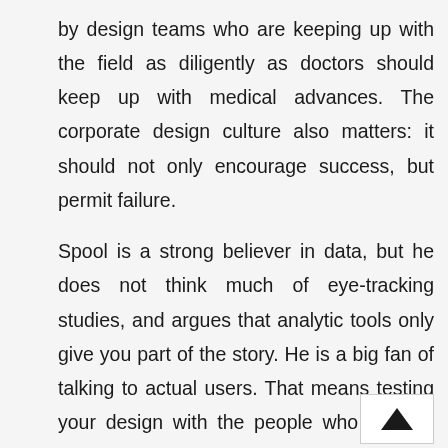by design teams who are keeping up with the field as diligently as doctors should keep up with medical advances. The corporate design culture also matters: it should not only encourage success, but permit failure.
Spool is a strong believer in data, but he does not think much of eye-tracking studies, and argues that analytic tools only give you part of the story. He is a big fan of talking to actual users. That means testing your design with the people who actually use your site, listening to what they say,looking at what went right and wrong, refining your design ac